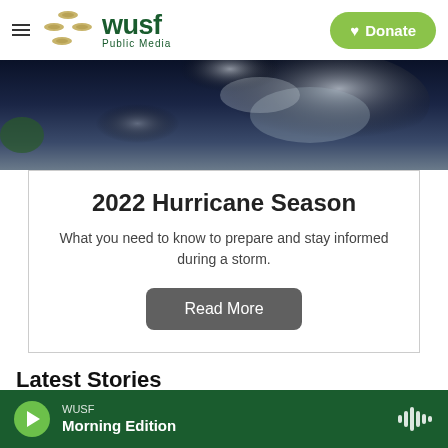WUSF Public Media | Donate
[Figure (photo): Aerial/satellite view of a hurricane storm with dark blue and grey swirling clouds]
2022 Hurricane Season
What you need to know to prepare and stay informed during a storm.
Read More
Latest Stories
WUSF Morning Edition